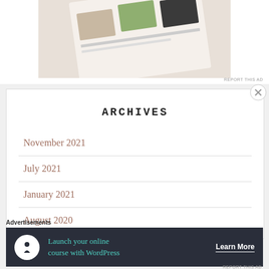[Figure (photo): Top portion of an advertisement showing food/recipe images on what appears to be a tablet or magazine layout, partially visible at the top of the page.]
REPORT THIS AD
ARCHIVES
November 2021
July 2021
January 2021
August 2020
July 2020
Advertisements
[Figure (infographic): Dark banner advertisement with a white circle icon containing a person/tree silhouette, teal text reading 'Launch your online course with WordPress', and a 'Learn More' button.]
REPORT THIS AD